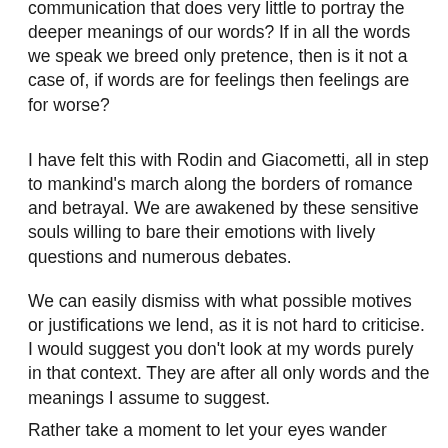communication that does very little to portray the deeper meanings of our words? If in all the words we speak we breed only pretence, then is it not a case of, if words are for feelings then feelings are for worse?
I have felt this with Rodin and Giacometti, all in step to mankind's march along the borders of romance and betrayal. We are awakened by these sensitive souls willing to bare their emotions with lively questions and numerous debates.
We can easily dismiss with what possible motives or justifications we lend, as it is not hard to criticise. I would suggest you don't look at my words purely in that context. They are after all only words and the meanings I assume to suggest.
Rather take a moment to let your eyes wander across